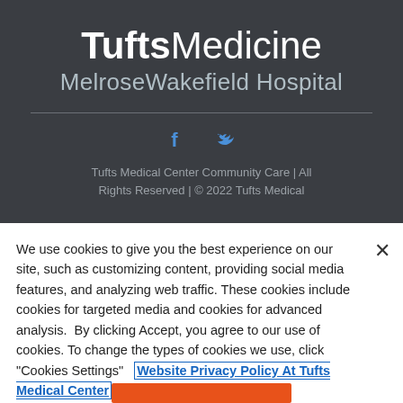[Figure (logo): Tufts Medicine MelroseWakefield Hospital logo on dark background]
[Figure (infographic): Facebook and Twitter social media icons in blue]
Tufts Medical Center Community Care | All Rights Reserved | © 2022 Tufts Medical
We use cookies to give you the best experience on our site, such as customizing content, providing social media features, and analyzing web traffic. These cookies include cookies for targeted media and cookies for advanced analysis.  By clicking Accept, you agree to our use of cookies. To change the types of cookies we use, click "Cookies Settings"  Website Privacy Policy At Tufts Medical Center